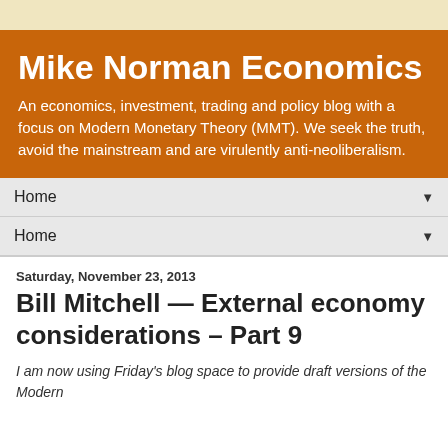Mike Norman Economics
An economics, investment, trading and policy blog with a focus on Modern Monetary Theory (MMT). We seek the truth, avoid the mainstream and are virulently anti-neoliberalism.
Home ▼
Home ▼
Saturday, November 23, 2013
Bill Mitchell — External economy considerations – Part 9
I am now using Friday's blog space to provide draft versions of the Modern